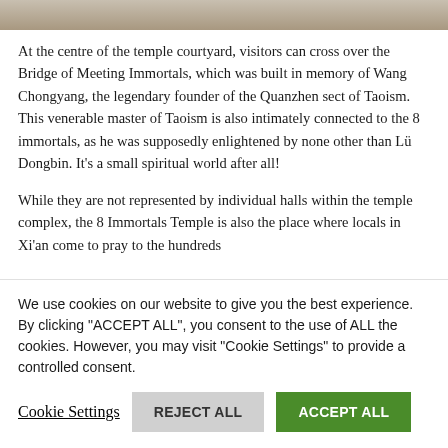[Figure (photo): Top portion of a photo showing what appears to be a temple courtyard scene, partially visible at the top of the page.]
At the centre of the temple courtyard, visitors can cross over the Bridge of Meeting Immortals, which was built in memory of Wang Chongyang, the legendary founder of the Quanzhen sect of Taoism. This venerable master of Taoism is also intimately connected to the 8 immortals, as he was supposedly enlightened by none other than Lü Dongbin. It's a small spiritual world after all!
While they are not represented by individual halls within the temple complex, the 8 Immortals Temple is also the place where locals in Xi'an come to pray to the hundreds
We use cookies on our website to give you the best experience. By clicking "ACCEPT ALL", you consent to the use of ALL the cookies. However, you may visit "Cookie Settings" to provide a controlled consent.
Cookie Settings | REJECT ALL | ACCEPT ALL